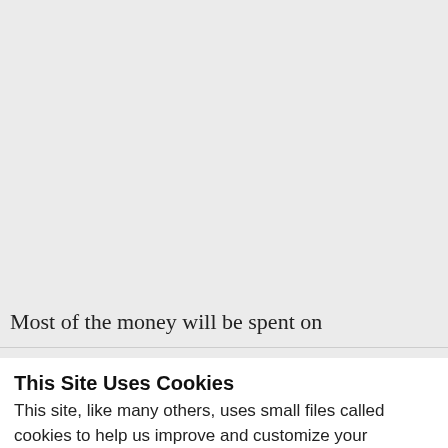Most of the money will be spent on
This Site Uses Cookies
This site, like many others, uses small files called cookies to help us improve and customize your experience. Learn more about how we use cookies in our cookie policy.
Learn more about cookies
OK